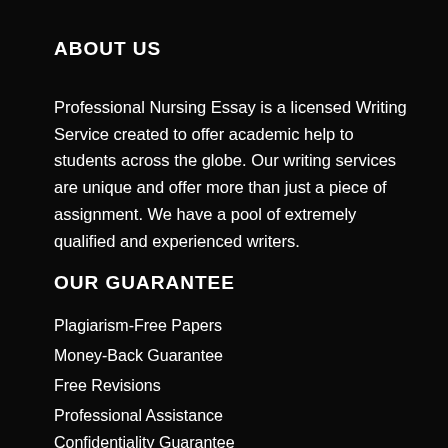ABOUT US
Professional Nursing Essay is a licensed Writing Service created to offer academic help to students across the globe. Our writing services are unique and offer more than just a piece of assignment. We have a pool of extremely qualified and experienced writers.
OUR GUARANTEE
Plagiarism-Free Papers
Money-Back Guarantee
Free Revisions
Professional Assistance
Confidentiality Guarantee